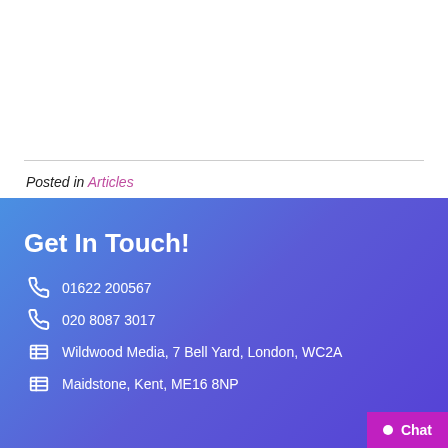Posted in Articles
Get In Touch!
01622 200567
020 8087 3017
Wildwood Media, 7 Bell Yard, London, WC2A
Maidstone, Kent, ME16 8NP
Chat